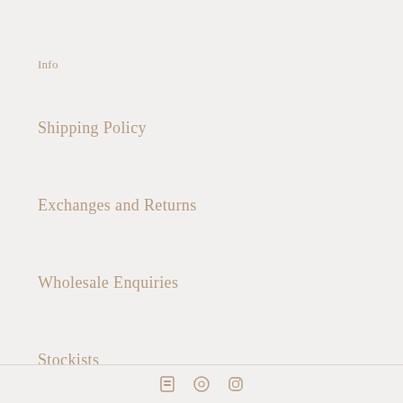Info
Shipping Policy
Exchanges and Returns
Wholesale Enquiries
Stockists
[Figure (illustration): Three social media icons (Facebook, Pinterest/circle, Instagram) in tan/brown color at bottom of page]